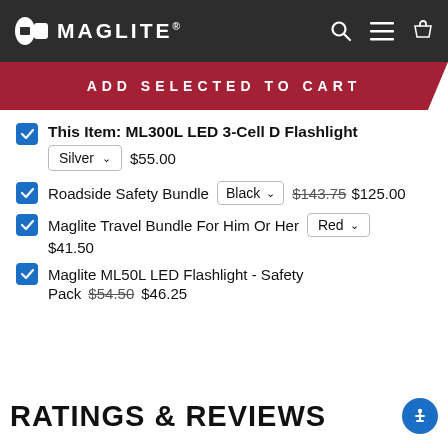MAGLITE
ADD SELECTED TO CART
This Item: ML300L LED 3-Cell D Flashlight — Silver — $55.00
Roadside Safety Bundle — Black — $143.75 $125.00
Maglite Travel Bundle For Him Or Her — Red — $41.50
Maglite ML50L LED Flashlight - Safety Pack — $54.50 $46.25
RATINGS & REVIEWS